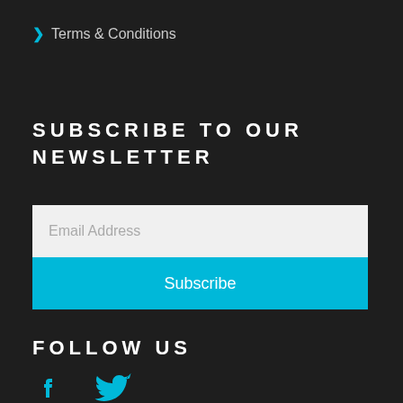> Terms & Conditions
SUBSCRIBE TO OUR NEWSLETTER
Email Address
Subscribe
FOLLOW US
[Figure (illustration): Facebook and Twitter social media icons in cyan/blue color]